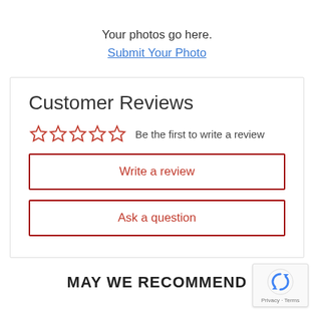Your photos go here.
Submit Your Photo
Customer Reviews
Be the first to write a review
Write a review
Ask a question
MAY WE RECOMMEND